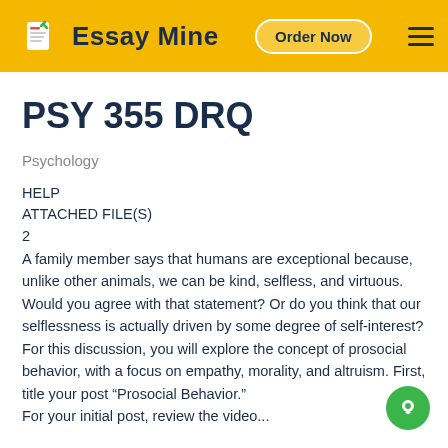Essay Mine | Order Now
PSY 355 DRQ
Psychology
HELP
ATTACHED FILE(S)
2
A family member says that humans are exceptional because, unlike other animals, we can be kind, selfless, and virtuous. Would you agree with that statement? Or do you think that our selflessness is actually driven by some degree of self-interest? For this discussion, you will explore the concept of prosocial behavior, with a focus on empathy, morality, and altruism. First, title your post “Prosocial Behavior.”
For your initial post, review the video...